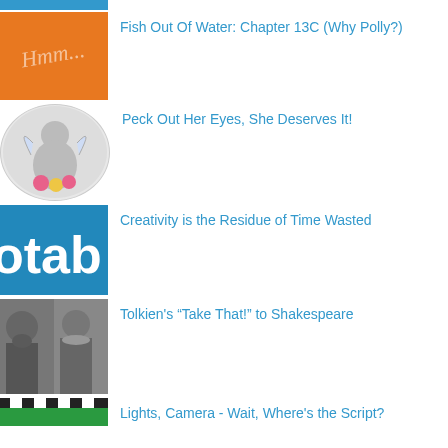Fish Out Of Water: Chapter 13C (Why Polly?)
Peck Out Her Eyes, She Deserves It!
Creativity is the Residue of Time Wasted
Tolkien's “Take That!” to Shakespeare
Lights, Camera - Wait, Where's the Script?